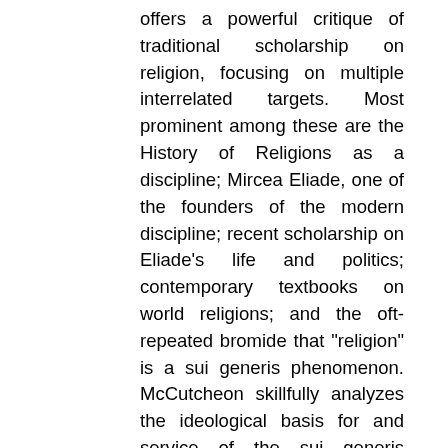offers a powerful critique of traditional scholarship on religion, focusing on multiple interrelated targets. Most prominent among these are the History of Religions as a discipline; Mircea Eliade, one of the founders of the modern discipline; recent scholarship on Eliade's life and politics; contemporary textbooks on world religions; and the oft-repeated bromide that "religion" is a sui generis phenomenon. McCutcheon skillfully analyzes the ideological basis for and service of the sui generis argument, demonstrating that it has been used to constitute the field's object of study in a form that is ahistoric, apolitical, fetishized, and sacrosanct. As such, he charges, it has helped to create departments, jobs, and publication outlets for those who are comfortable with such a suspect construction, while establishing a disciplinary ethos of